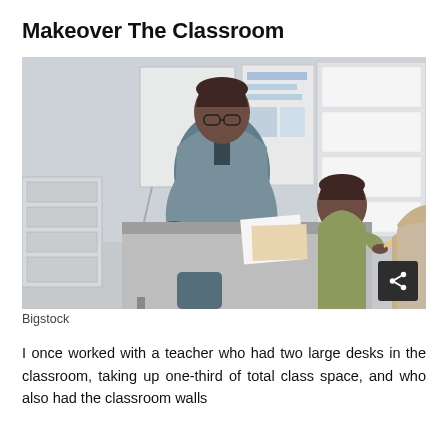Makeover The Classroom
[Figure (photo): A teacher leaning over a student's desk in a classroom, helping a young boy who is writing. Another student is partially visible on the right. A whiteboard and shelving are visible in the background.]
Bigstock
I once worked with a teacher who had two large desks in the classroom, taking up one-third of total class space, and who also had the classroom walls